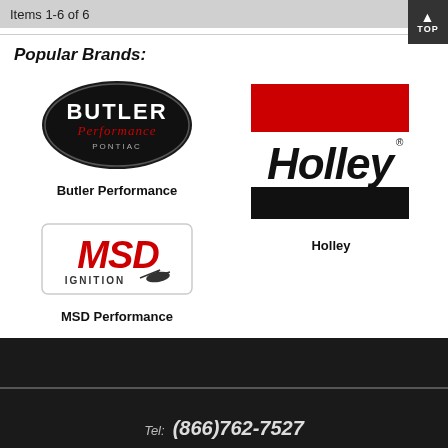Items 1-6 of 6
Popular Brands:
[Figure (logo): Butler Performance Pontiac oval black logo]
Butler Performance
[Figure (logo): Holley logo with red and black bars]
Holley
[Figure (logo): MSD Ignition logo in red and black]
MSD Performance
Tel: (866)762-7527